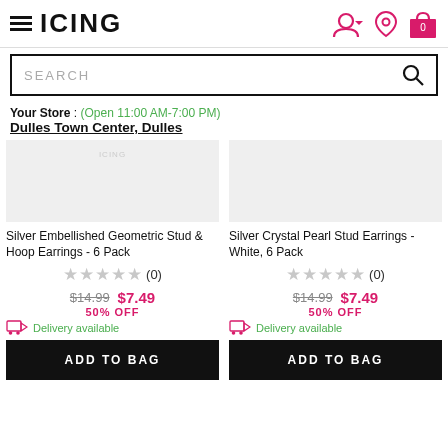ICING
Your Store : (Open 11:00 AM-7:00 PM) Dulles Town Center, Dulles
[Figure (screenshot): Product image placeholder for Silver Embellished Geometric Stud & Hoop Earrings]
Silver Embellished Geometric Stud & Hoop Earrings - 6 Pack
★★★★★ (0)
$14.99  $7.49
50% OFF
Delivery available
[Figure (screenshot): Product image placeholder for Silver Crystal Pearl Stud Earrings]
Silver Crystal Pearl Stud Earrings - White, 6 Pack
★★★★★ (0)
$14.99  $7.49
50% OFF
Delivery available